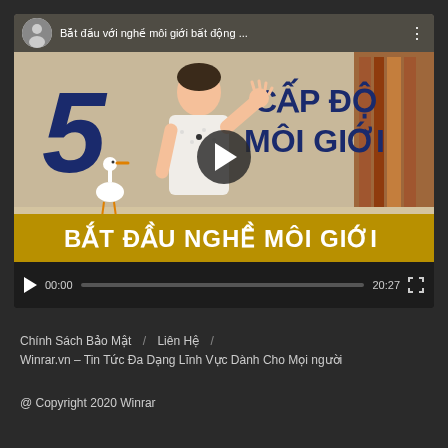[Figure (screenshot): Embedded YouTube video player showing a Vietnamese real estate broker tutorial. Thumbnail text: '5 CẤP ĐỘ MÔI GIỚI' and 'BẮT ĐẦU NGHỀ MÔI GIỚI'. Video title: 'Bắt đầu với nghề môi giới bất động ...'. Timestamp shown: 00:00 / 20:27. Play button visible in center.]
Chính Sách Bảo Mật  /  Liên Hệ  /
Winrar.vn – Tin Tức Đa Dạng Lĩnh Vực Dành Cho Mọi người
@ Copyright 2020 Winrar